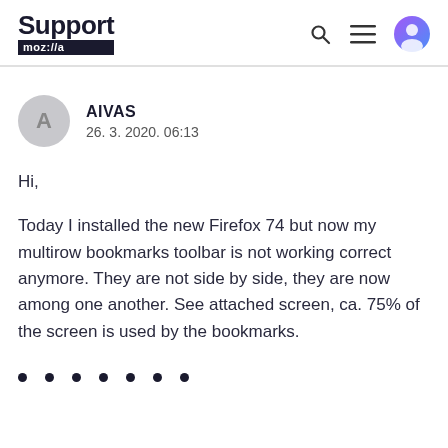Support mozilla
AIVAS
26. 3. 2020. 06:13
Hi,
Today I installed the new Firefox 74 but now my multirow bookmarks toolbar is not working correct anymore. They are not side by side, they are now among one another. See attached screen, ca. 75% of the screen is used by the bookmarks.